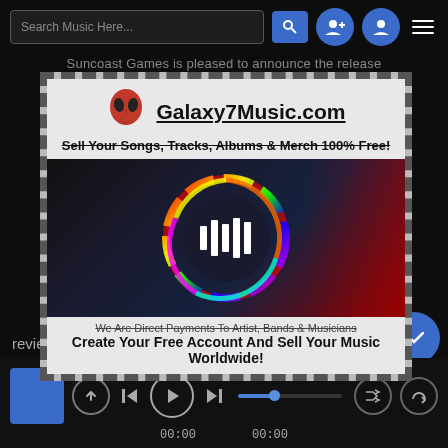[Figure (screenshot): Music app screenshot with search bar, add friend and profile icon buttons, hamburger menu at top. An ad overlay for Galaxy7Music.com with alien logo, text 'Sell Your Songs, Tracks, Albums & Merch 100% Free!' and 'Create Your Free Account And Sell Your Music Worldwide!'. Bottom player bar with playback controls, progress bar, and time display 00:00 / 00:00. Text 'Suncoast Games is pleased to announce the release' partially visible. 'reviews' text at bottom left.]